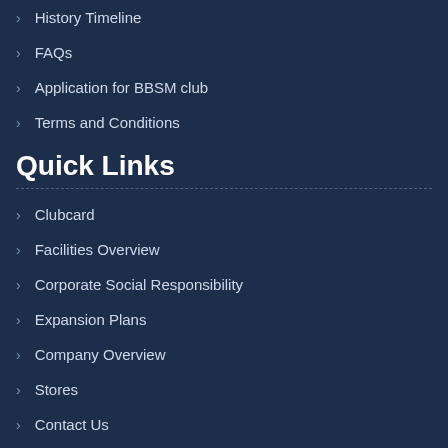History Timeline
FAQs
Application for BBSM club
Terms and Conditions
Quick Links
Clubcard
Facilities Overview
Corporate Social Responsibility
Expansion Plans
Company Overview
Stores
Contact Us